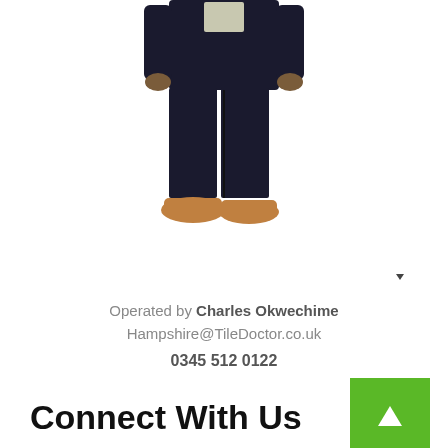[Figure (photo): Lower body of a person wearing dark jacket, dark trousers, and tan/brown shoes, standing on white background]
Operated by Charles Okwechime
Hampshire@TileDoctor.co.uk
0345 512 0122
Connect With Us